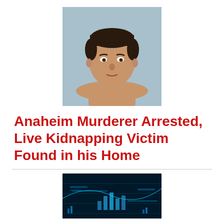[Figure (photo): Mugshot photo of a shirtless man with dark hair against a light blue background]
Anaheim Murderer Arrested, Live Kidnapping Victim Found in his Home
[Figure (screenshot): Dark blue digital/cyber themed image showing bar charts and data visualizations on a dark background]